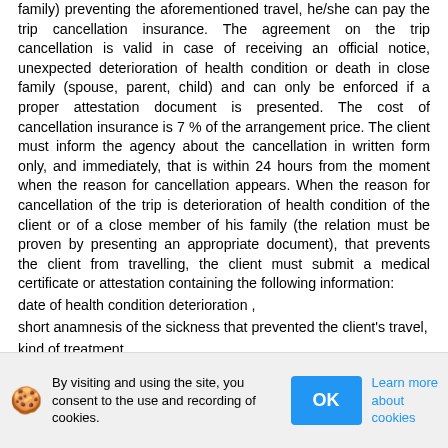family) preventing the aforementioned travel, he/she can pay the trip cancellation insurance. The agreement on the trip cancellation is valid in case of receiving an official notice, unexpected deterioration of health condition or death in close family (spouse, parent, child) and can only be enforced if a proper attestation document is presented. The cost of cancellation insurance is 7 % of the arrangement price. The client must inform the agency about the cancellation in written form only, and immediately, that is within 24 hours from the moment when the reason for cancellation appears. When the reason for cancellation of the trip is deterioration of health condition of the client or of a close member of his family (the relation must be proven by presenting an appropriate document), that prevents the client from travelling, the client must submit a medical certificate or attestation containing the following information:
date of health condition deterioration ,
short anamnesis of the sickness that prevented the client's travel,
kind of treatment,
confirmation that medical absence overlaps with the beginning of health deterioration.
By visiting and using the site, you consent to the use and recording of cookies.